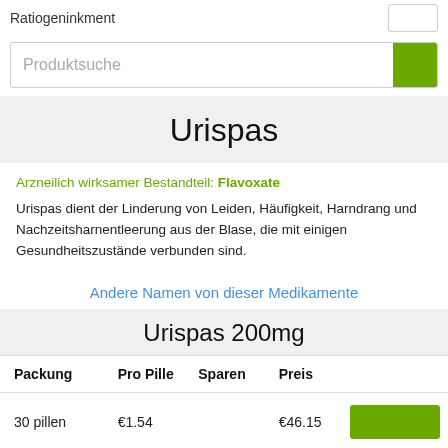Ratiogeninkment
Produktsuche
Urispas
Arzneilich wirksamer Bestandteil: Flavoxate
Urispas dient der Linderung von Leiden, Häufigkeit, Harndrang und Nachzeitsharnentleerung aus der Blase, die mit einigen Gesundheitszustände verbunden sind.
Andere Namen von dieser Medikamente
Urispas 200mg
| Packung | Pro Pille | Sparen | Preis |  |
| --- | --- | --- | --- | --- |
| 30 pillen | €1.54 |  | €46.15 |  |